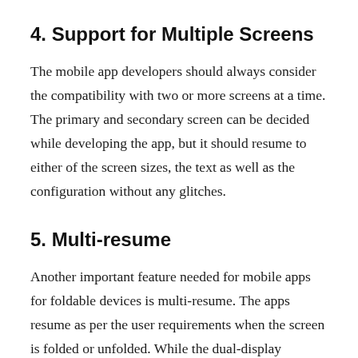4. Support for Multiple Screens
The mobile app developers should always consider the compatibility with two or more screens at a time. The primary and secondary screen can be decided while developing the app, but it should resume to either of the screen sizes, the text as well as the configuration without any glitches.
5. Multi-resume
Another important feature needed for mobile apps for foldable devices is multi-resume. The apps resume as per the user requirements when the screen is folded or unfolded. While the dual-display